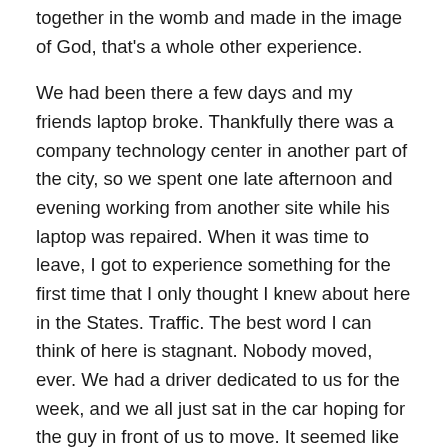together in the womb and made in the image of God, that's a whole other experience.
We had been there a few days and my friends laptop broke. Thankfully there was a company technology center in another part of the city, so we spent one late afternoon and evening working from another site while his laptop was repaired. When it was time to leave, I got to experience something for the first time that I only thought I knew about here in the States. Traffic. The best word I can think of here is stagnant. Nobody moved, ever. We had a driver dedicated to us for the week, and we all just sat in the car hoping for the guy in front of us to move. It seemed like he never would, but when he did, we moved inches. It was hardly worth celebrating.
After we sat there for a few minutes, there came a crowd